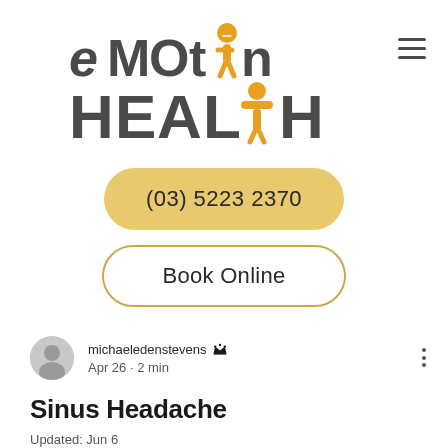[Figure (logo): eMotion Health logo with orange figure character replacing the letter I in MOTION, and orange T-shaped figure in HEALTH]
(03) 5223 2370
Book Online
michaeledenstevens  Apr 26 • 2 min
Sinus Headache
Updated: Jun 6